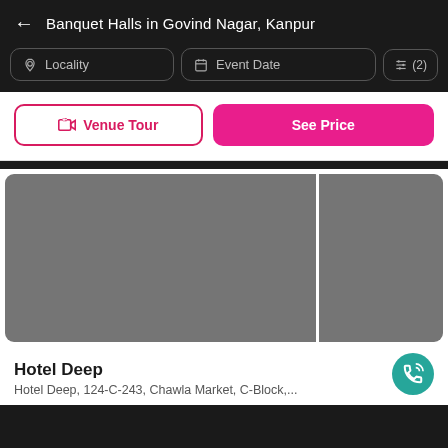Banquet Halls in Govind Nagar, Kanpur
Locality
Event Date
(2)
Venue Tour
See Price
[Figure (photo): Two gray placeholder images side by side showing a banquet hall listing]
Hotel Deep
Hotel Deep, 124-C-243, Chawla Market, C-Block,...